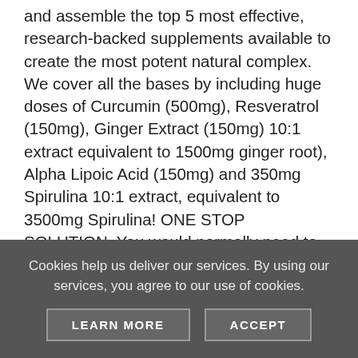and assemble the top 5 most effective, research-backed supplements available to create the most potent natural complex. We cover all the bases by including huge doses of Curcumin (500mg), Resveratrol (150mg), Ginger Extract (150mg) 10:1 extract equivalent to 1500mg ginger root), Alpha Lipoic Acid (150mg) and 350mg Spirulina 10:1 extract, equivalent to 3500mg Spirulina! ONE STOP SOLUTION. You would normally need to buy several supplements to benefit from all these ingredients. Our formula provides a cost effective and convenient one tablet solution. Not only that, but our tablets contain higher concentrations of each ingredient then you would get if buying many individual products. The icing of the cake is the inclusion of the Black pepper extract. This miraculous
Cookies help us deliver our services. By using our services, you agree to our use of cookies.